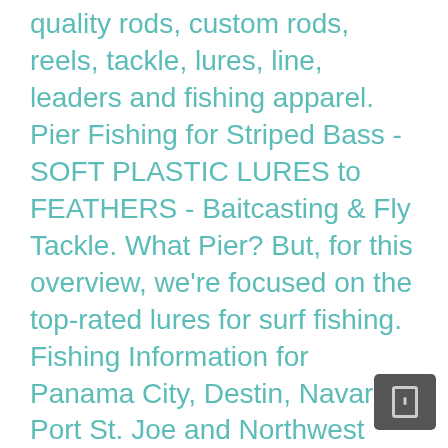quality rods, custom rods, reels, tackle, lures, line, leaders and fishing apparel. Pier Fishing for Striped Bass - SOFT PLASTIC LURES to FEATHERS - Baitcasting & Fly Tackle. What Pier? But, for this overview, we're focused on the top-rated lures for surf fishing. Fishing Information for Panama City, Destin, Navarre, Port St. Joe and Northwest Florida. Pier fishing is a lot more than dropping a line and waiting for the fish to bite. Pier fishing in Florida can be as easy or as complicated as you want it to be. Public Pier — No Fishing License Required The angling piers of California are unique. With mild temperatures and hurricane season behind us, the waters surrounding the Juno Beach Pier will host bluefish, Spanish mackerel, pompano, jack, blue runners, croaker, and whiting. My Favorite Pier Fishing LuresThe video below goes over my favorite pier fishing lures and